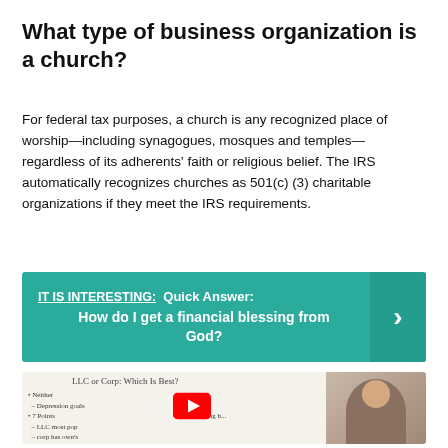What type of business organization is a church?
For federal tax purposes, a church is any recognized place of worship—including synagogues, mosques and temples—regardless of its adherents' faith or religious belief. The IRS automatically recognizes churches as 501(c) (3) charitable organizations if they meet the IRS requirements.
IT IS INTERESTING:  Quick Answer: How do I get a financial blessing from God?
[Figure (screenshot): Video thumbnail showing a whiteboard with 'LLC or Corp: Which Is Best?' and a man on the right side, with a YouTube play button overlay.]